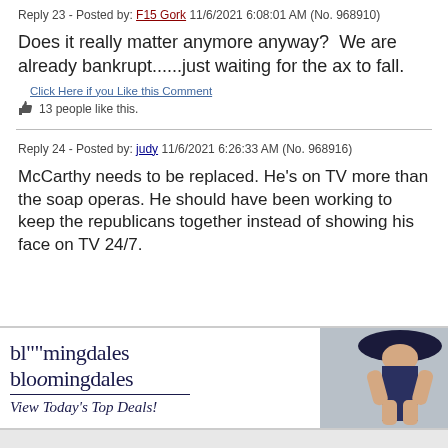Reply 23 - Posted by: F15 Gork 11/6/2021 6:08:01 AM (No. 968910)
Does it really matter anymore anyway?  We are already bankrupt......just waiting for the ax to fall.
Click Here if you Like this Comment
13 people like this.
Reply 24 - Posted by: judy 11/6/2021 6:26:33 AM (No. 968916)
McCarthy needs to be replaced. He's on TV more than the soap operas. He should have been working to keep the republicans together instead of showing his face on TV 24/7.
[Figure (illustration): Bloomingdale's advertisement banner showing logo, tagline 'View Today's Top Deals!', image of woman in hat, and SHOP NOW > button]